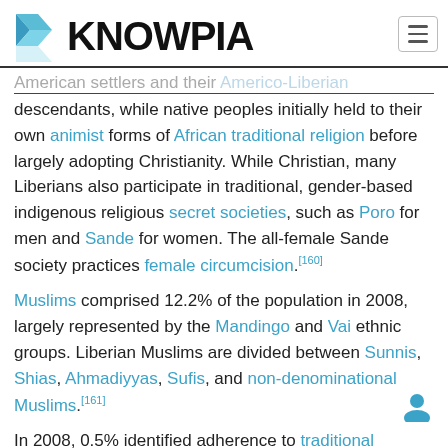KNOWPIA
American settlers and their Americo-Liberian descendants, while native peoples initially held to their own animist forms of African traditional religion before largely adopting Christianity. While Christian, many Liberians also participate in traditional, gender-based indigenous religious secret societies, such as Poro for men and Sande for women. The all-female Sande society practices female circumcision.[160]
Muslims comprised 12.2% of the population in 2008, largely represented by the Mandingo and Vai ethnic groups. Liberian Muslims are divided between Sunnis, Shias, Ahmadiyyas, Sufis, and non-denominational Muslims.[161]
In 2008, 0.5% identified adherence to traditional